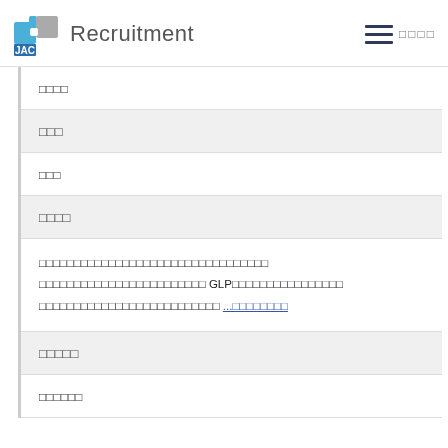JAC Recruitment
□□□□
□□□
□□□
□□□□
□□□□□□□□□□□□□□□□□□□□□□□□□□□□□□□□□ GLP□□□□□□□□□□□□□□□□□□□□□□□□□□□□□□□□□□ ...□□□□□□□□
□□□□□
□□□□□□